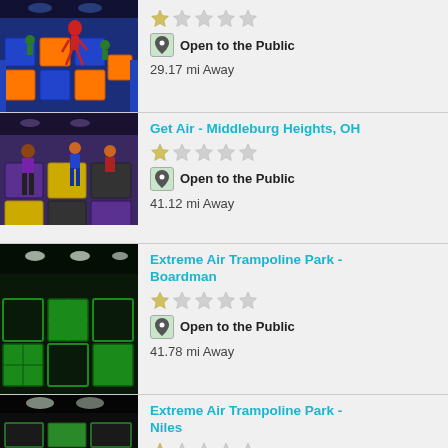[Figure (photo): Indoor trampoline park with blue walls, people jumping]
Open to the Public
29.17 mi Away
Get Air - Middleburg Heights, OH
Open to the Public
41.12 mi Away
[Figure (photo): Indoor trampoline park, people jumping, purple/yellow trampolines]
Extreme Air Trampoline Park - Boardman
Open to the Public
41.78 mi Away
[Figure (photo): Indoor trampoline park with green grid trampolines]
Extreme Air Trampoline Park - Niles
[Figure (photo): Indoor trampoline park with overhead lights]